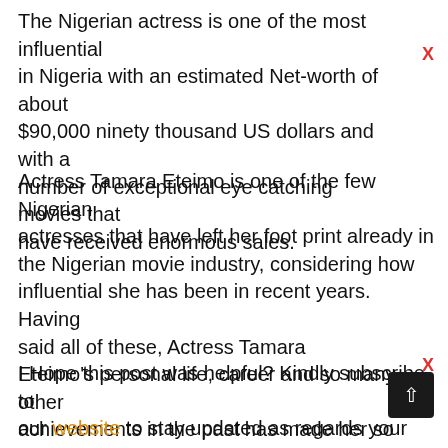The Nigerian actress is one of the most influential in Nigeria with an estimated Net-worth of about $90,000 ninety thousand US dollars and with a number of exceptional eye catching movies that have received enormous sales.
Actress Tamara Eteimo is one of the few Nigerian actresses that have left her foot print already in the Nigerian movie industry, considering how influential she has been in recent years. Having said all of these, Actress Tamara Eteimo's personal life, career and so many other achievements in the past has made her so famous that she is widely known.
I Hope this post was helpful? Kindly subscribe to our website to stay updated as regards your favorite celebrities.